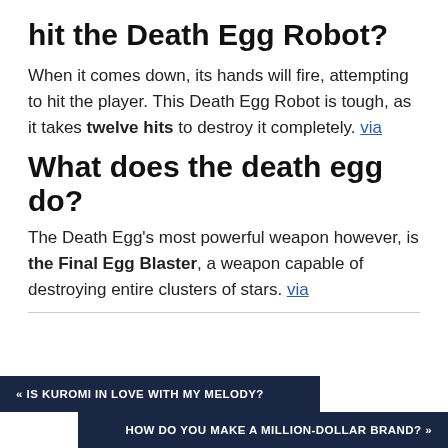hit the Death Egg Robot?
When it comes down, its hands will fire, attempting to hit the player. This Death Egg Robot is tough, as it takes twelve hits to destroy it completely. via
What does the death egg do?
The Death Egg's most powerful weapon however, is the Final Egg Blaster, a weapon capable of destroying entire clusters of stars. via
« IS KUROMI IN LOVE WITH MY MELODY?
HOW DO YOU MAKE A MILLION-DOLLAR BRAND? »